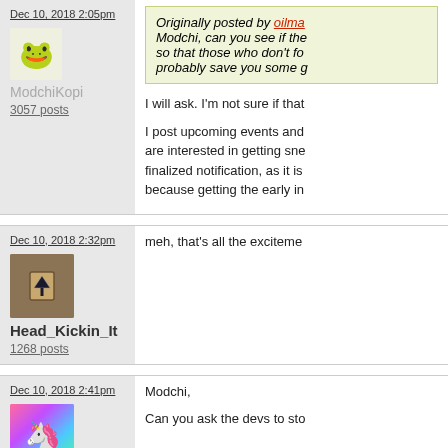Dec 10, 2018 2:05pm
ModchiKopi
3057 posts
Originally posted by oilma
Modchi, can you see if the so that those who don't fo probably save you some g
I will ask. I'm not sure if that
I post upcoming events and are interested in getting sne finalized notification, as it is because getting the early in
Dec 10, 2018 2:32pm
Head_Kickin_It
1268 posts
meh, that's all the exciteme
Dec 10, 2018 2:41pm
IAmNotBot
29 posts
Modchi,
Can you ask the devs to sto